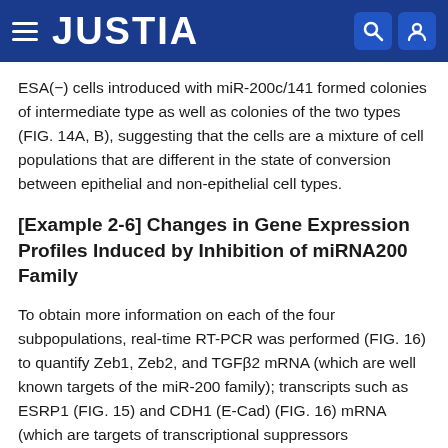JUSTIA
ESA(−) cells introduced with miR-200c/141 formed colonies of intermediate type as well as colonies of the two types (FIG. 14A, B), suggesting that the cells are a mixture of cell populations that are different in the state of conversion between epithelial and non-epithelial cell types.
[Example 2-6] Changes in Gene Expression Profiles Induced by Inhibition of miRNA200 Family
To obtain more information on each of the four subpopulations, real-time RT-PCR was performed (FIG. 16) to quantify Zeb1, Zeb2, and TGFβ2 mRNA (which are well known targets of the miR-200 family); transcripts such as ESRP1 (FIG. 15) and CDH1 (E-Cad) (FIG. 16) mRNA (which are targets of transcriptional suppressors Zeb1/Zeb2); and so on and so forth (FIG. and ZEB)